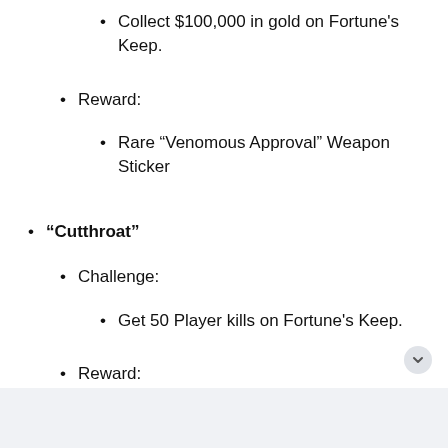Collect $100,000 in gold on Fortune's Keep.
Reward:
Rare “Venomous Approval” Weapon Sticker
“Cutthroat”
Challenge:
Get 50 Player kills on Fortune’s Keep.
Reward:
Legendary: “False Prospector”